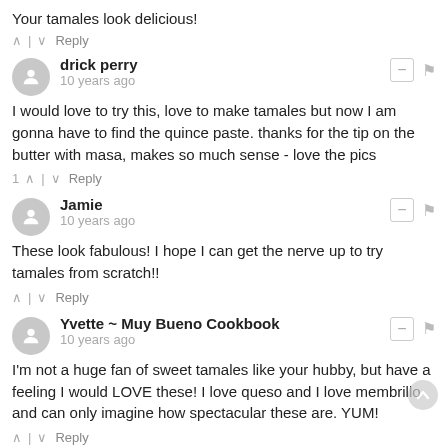Your tamales look delicious!
1 ^ | v Reply
drick perry
10 years ago
I would love to try this, love to make tamales but now I am gonna have to find the quince paste. thanks for the tip on the butter with masa, makes so much sense - love the pics
1 ^ | v Reply
Jamie
10 years ago
These look fabulous! I hope I can get the nerve up to try tamales from scratch!!
^ | v Reply
Yvette ~ Muy Bueno Cookbook
10 years ago
I'm not a huge fan of sweet tamales like your hubby, but have a feeling I would LOVE these! I love queso and I love membrillo and can only imagine how spectacular these are. YUM!
^ | v Reply